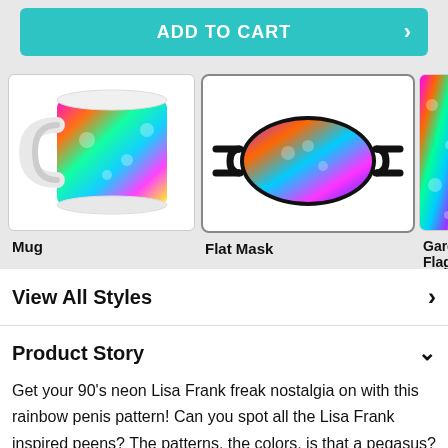[Figure (screenshot): ADD TO CART button in teal/cyan color with arrow on right]
[Figure (screenshot): Three product thumbnails: Mug with colorful psychedelic pattern, Flat Mask with colorful psychedelic pattern (selected/highlighted), and partial Garden Flag with colorful pattern]
Mug
Flat Mask
Garden Flag
View All Styles
Product Story
Get your 90's neon Lisa Frank freak nostalgia on with this rainbow penis pattern! Can you spot all the Lisa Frank inspired peens? The patterns, the colors, is that a pegasus? A